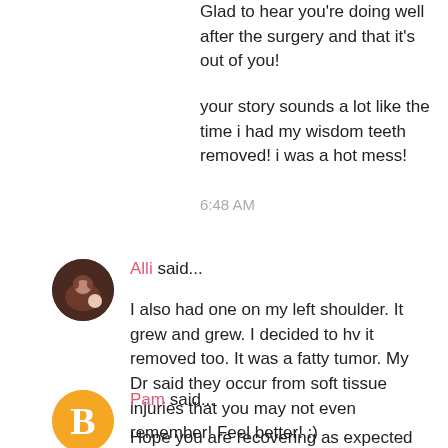Glad to hear you're doing well after the surgery and that it's out of you!
your story sounds a lot like the time i had my wisdom teeth removed! i was a hot mess!
6:48 AM
Alli said...
I also had one on my left shoulder. It grew and grew. I decided to hv it removed too. It was a fatty tumor. My Dr said they occur from soft tissue injuries that you may not even remember! Feel better! :)
1:00 PM
[Figure (photo): Round avatar photo of Alli, a woman holding a baby]
Pam said...
Hope you are recovering as expected and still
[Figure (logo): Orange circular Blogger 'B' logo avatar for Pam]